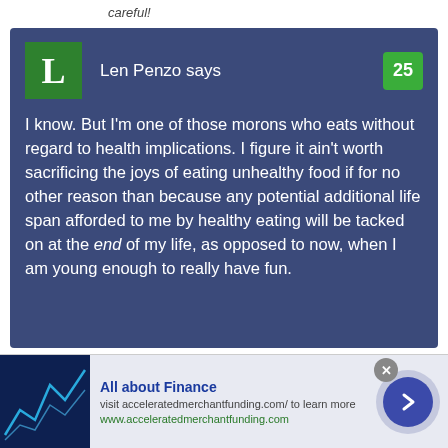careful!
Len Penzo says
25
I know. But I'm one of those morons who eats without regard to health implications. I figure it ain't worth sacrificing the joys of eating unhealthy food if for no other reason than because any potential additional life span afforded to me by healthy eating will be tacked on at the end of my life, as opposed to now, when I am young enough to really have fun.
All about Finance
visit acceleratedmerchantfunding.com/ to learn more
www.acceleratedmerchantfunding.com